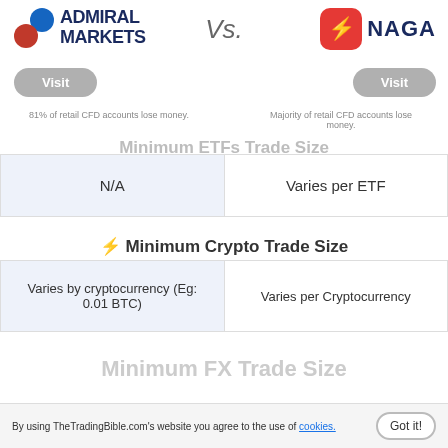[Figure (logo): Admiral Markets logo with blue and red circles and bold dark blue text]
[Figure (logo): NAGA logo with red rounded square containing white bolt icon and bold dark blue NAGA text]
Vs.
Visit
Visit
81% of retail CFD accounts lose money.
Majority of retail CFD accounts lose money.
Minimum ETFs Trade Size
| N/A | Varies per ETF |
⚡ Minimum Crypto Trade Size
| Varies by cryptocurrency (Eg: 0.01 BTC) | Varies per Cryptocurrency |
Minimum FX Trade Size
By using TheTradingBible.com's website you agree to the use of cookies.